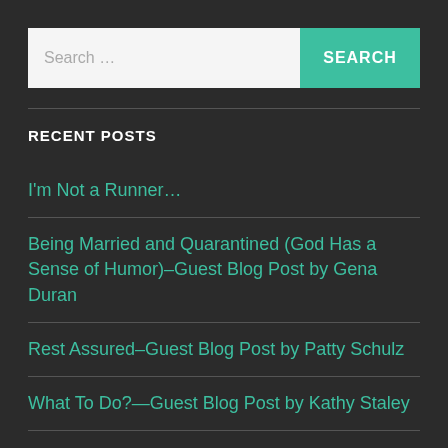[Figure (screenshot): Search bar with text input field showing 'Search …' placeholder and a teal SEARCH button on the right]
RECENT POSTS
I'm Not a Runner…
Being Married and Quarantined (God Has a Sense of Humor)–Guest Blog Post by Gena Duran
Rest Assured–Guest Blog Post by Patty Schulz
What To Do?—Guest Blog Post by Kathy Staley
Finding God in All of This–Guest Blog Post by Gena